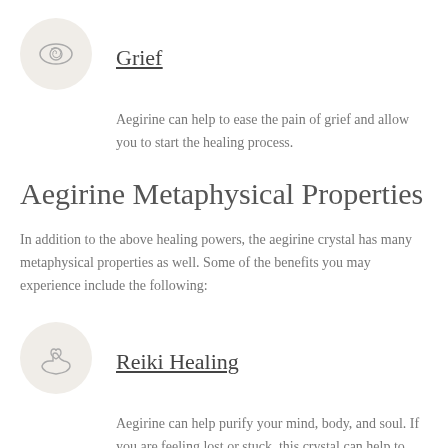[Figure (illustration): Eye with spiral iris icon inside a round beige circle]
Grief
Aegirine can help to ease the pain of grief and allow you to start the healing process.
Aegirine Metaphysical Properties
In addition to the above healing powers, the aegirine crystal has many metaphysical properties as well. Some of the benefits you may experience include the following:
[Figure (illustration): Heart with hands (Reiki) icon inside a round beige circle]
Reiki Healing
Aegirine can help purify your mind, body, and soul. If you are feeling lost or stuck, this crystal can help to clear the way and allow you to start fresh.